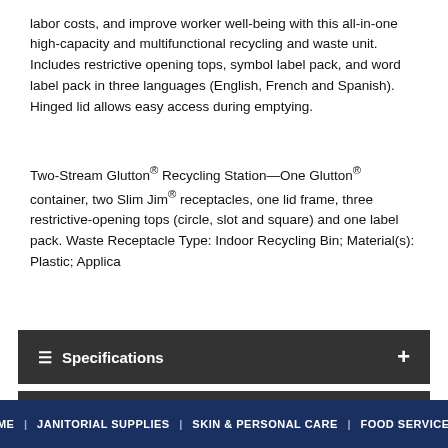labor costs, and improve worker well-being with this all-in-one high-capacity and multifunctional recycling and waste unit. Includes restrictive opening tops, symbol label pack, and word label pack in three languages (English, French and Spanish). Hinged lid allows easy access during emptying.
Two-Stream Glutton® Recycling Station—One Glutton® container, two Slim Jim® receptacles, one lid frame, three restrictive-opening tops (circle, slot and square) and one label pack. Waste Receptacle Type: Indoor Recycling Bin; Material(s): Plastic; Applica
Specifications
Supplies
Product Family
HOME | JANITORIAL SUPPLIES | SKIN & PERSONAL CARE | FOOD SERVICE |